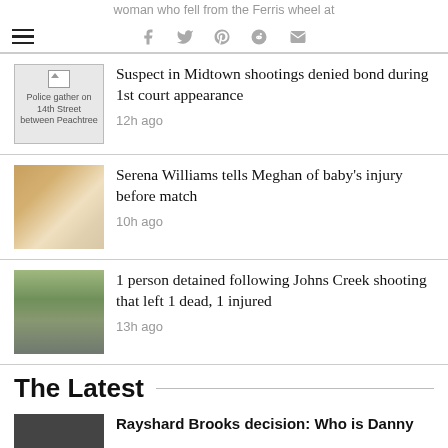woman who fell from the Ferris wheel at
Suspect in Midtown shootings denied bond during 1st court appearance · 12h ago
Serena Williams tells Meghan of baby's injury before match · 10h ago
1 person detained following Johns Creek shooting that left 1 dead, 1 injured · 13h ago
The Latest
Rayshard Brooks decision: Who is Danny